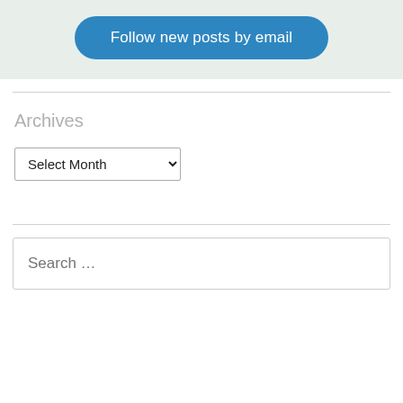[Figure (screenshot): Blue rounded button labeled 'Follow new posts by email' on a light green/grey background widget area]
Archives
[Figure (screenshot): A dropdown select element with placeholder text 'Select Month' and a dropdown arrow]
[Figure (screenshot): A search input box with placeholder text 'Search ...']